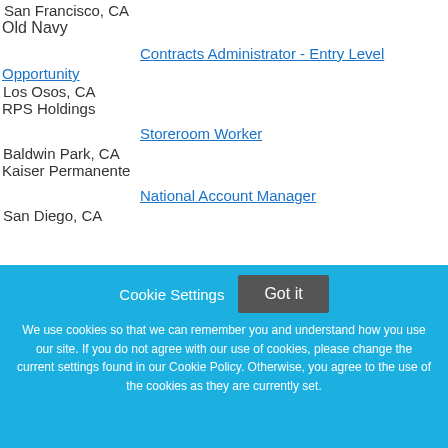San Francisco, CA
Old Navy
Contracts Administrator - Entry Level Opportunity
Los Osos, CA
RPS Holdings
Storeroom Worker
Baldwin Park, CA
Kaiser Permanente
National Account Manager
San Diego, CA
Cookie Settings  Got it
We use cookies so that we can remember you and understand how you use our site. If you do not agree with our use of cookies, please change the current settings found in our Cookie Policy. Otherwise, you agree to the use of the cookies as they are currently set.